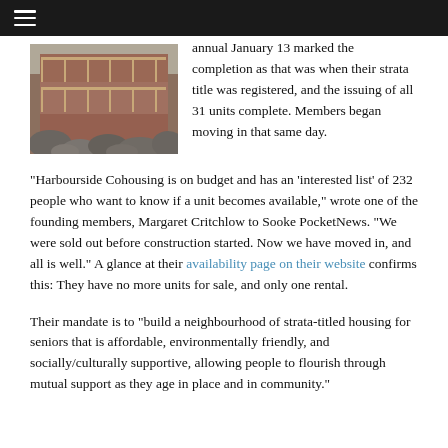Navigation bar
[Figure (photo): Multi-storey residential building with wooden balconies and railings, surrounded by large rocks, photographed from below.]
annual January 13 marked the completion as that was when their strata title was registered, and the issuing of all 31 units complete. Members began moving in that same day.
“Harbourside Cohousing is on budget and has an ‘interested list’ of 232 people who want to know if a unit becomes available,” wrote one of the founding members, Margaret Critchlow to Sooke PocketNews. “We were sold out before construction started. Now we have moved in, and all is well.” A glance at their availability page on their website confirms this: They have no more units for sale, and only one rental.
Their mandate is to “build a neighbourhood of strata-titled housing for seniors that is affordable, environmentally friendly, and socially/culturally supportive, allowing people to flourish through mutual support as they age in place and in community.”